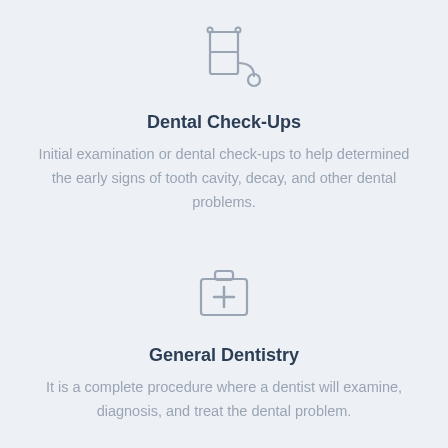[Figure (illustration): Stethoscope icon outline in gray]
Dental Check-Ups
Initial examination or dental check-ups to help determined the early signs of tooth cavity, decay, and other dental problems.
[Figure (illustration): First aid / medical kit icon outline in gray]
General Dentistry
It is a complete procedure where a dentist will examine, diagnosis, and treat the dental problem.